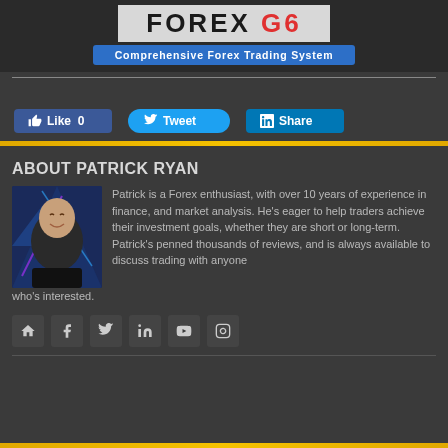[Figure (logo): Forex G6 logo with 'FOREX G6' text and 'Comprehensive Forex Trading System' subtitle on blue background]
[Figure (infographic): Social sharing buttons: Like 0 (Facebook blue), Tweet (Twitter blue), Share (LinkedIn blue)]
ABOUT PATRICK RYAN
[Figure (photo): Photo of Patrick Ryan, a man smiling/laughing, wearing a black jacket, with blue geometric background]
Patrick is a Forex enthusiast, with over 10 years of experience in finance, and market analysis. He's eager to help traders achieve their investment goals, whether they are short or long-term. Patrick's penned thousands of reviews, and is always available to discuss trading with anyone who's interested.
[Figure (infographic): Social media icon row: home, facebook, twitter, linkedin, youtube, instagram icons in dark square buttons]